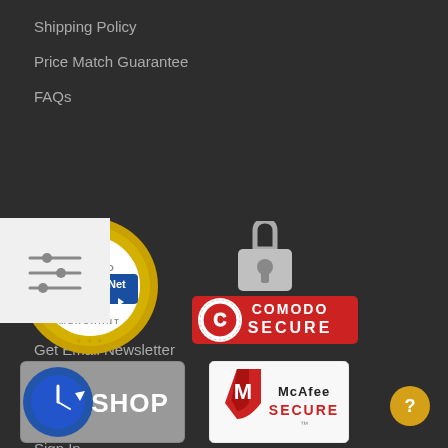Shipping Policy
Price Match Guarantee
FAQs
[Figure (infographic): Filter/settings icon with horizontal sliders on white background square]
JOIN US
Get Email Newsletter
Become an Affiliate
Social Media
Sign In
[Figure (logo): Authorize.Net Verified Merchant seal - golden badge with blue Authorize.Net Click text]
[Figure (logo): Comodo Secure badge with padlock icon and red banner]
[Figure (logo): Shop badge with clock/safe icon]
[Figure (logo): McAfee Secure badge with shield icon]